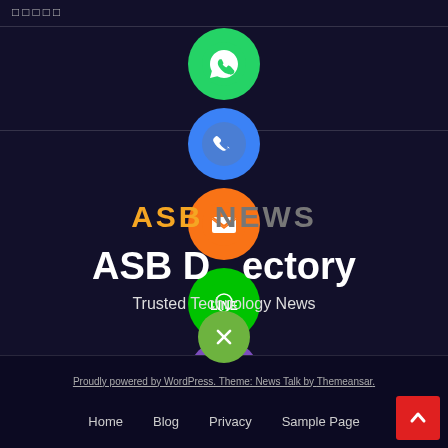□□□□□
[Figure (illustration): WhatsApp green circle icon]
[Figure (illustration): Phone blue circle icon]
[Figure (illustration): Email/envelope orange circle icon]
ASB Directory
Trusted Technology News
[Figure (illustration): LINE green circle icon]
[Figure (illustration): Viber purple circle icon]
[Figure (illustration): Close/X green circle button]
Proudly powered by WordPress. Theme: News Talk by Themeansar.
Home   Blog   Privacy   Sample Page